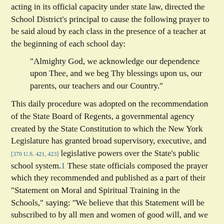acting in its official capacity under state law, directed the School District's principal to cause the following prayer to be said aloud by each class in the presence of a teacher at the beginning of each school day:
"Almighty God, we acknowledge our dependence upon Thee, and we beg Thy blessings upon us, our parents, our teachers and our Country."
This daily procedure was adopted on the recommendation of the State Board of Regents, a governmental agency created by the State Constitution to which the New York Legislature has granted broad supervisory, executive, and [370 U.S. 421, 423] legislative powers over the State's public school system.1 These state officials composed the prayer which they recommended and published as a part of their "Statement on Moral and Spiritual Training in the Schools," saying: "We believe that this Statement will be subscribed to by all men and women of good will, and we call upon all of them to aid in giving life to our program."
Shortly after the practice of reciting the Regents' prayer was adopted by the School District, the parents